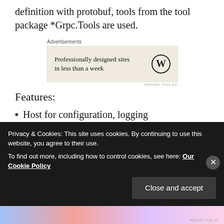definition with protobuf, tools from the tool package *Grpc.Tools are used.
[Figure (other): Advertisement banner: 'Professionally designed sites in less than a week' with WordPress logo on beige background]
Features:
Host for configuration, logging
Startup with DI container configuration and middleware
GRPC Protocol with Protobuf for the message format
Privacy & Cookies: This site uses cookies. By continuing to use this website, you agree to their use.
To find out more, including how to control cookies, see here: Our Cookie Policy